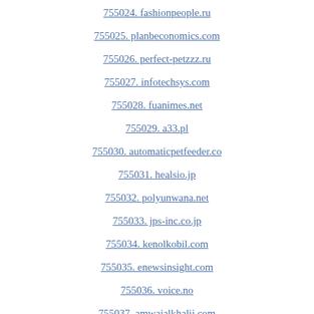755024. fashionpeople.ru
755025. planbeconomics.com
755026. perfect-petzzz.ru
755027. infotechsys.com
755028. fuanimes.net
755029. a33.pl
755030. automaticpetfeeder.co
755031. healsio.jp
755032. polyunwana.net
755033. jps-inc.co.jp
755034. kenolkobil.com
755035. enewsinsight.com
755036. voice.no
755037. amwajalkhalij.com
755038. onlinebiznes.org